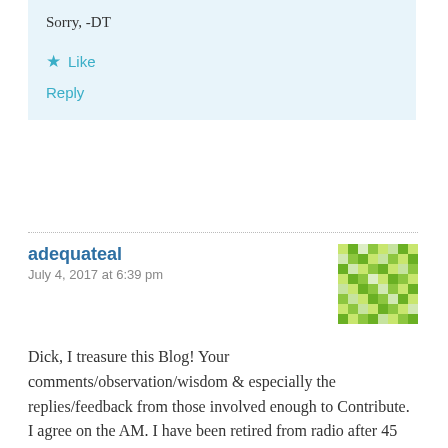Sorry, -DT
★ Like
Reply
adequateal
July 4, 2017 at 6:39 pm
[Figure (other): Green pixelated avatar/QR-style graphic for user adequateal]
Dick, I treasure this Blog! Your comments/observation/wisdom & especially the replies/feedback from those involved enough to Contribute.
I agree on the AM. I have been retired from radio after 45 years of AM, mostly on FM.
I miss the interaction with listeners (on-air, in-person).
A dear friend on mine for 30+ of those years, Frank Anderson, has afforded me an exciting opportunity: to provide Two Hours